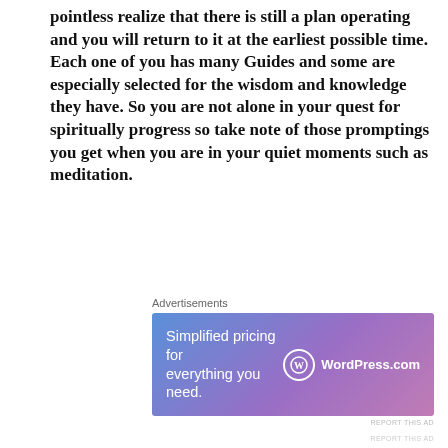pointless realize that there is still a plan operating and you will return to it at the earliest possible time. Each one of you has many Guides and some are especially selected for the wisdom and knowledge they have. So you are not alone in your quest for spiritually progress so take note of those promptings you get when you are in your quiet moments such as meditation.
Advertisements
[Figure (other): WordPress.com advertisement banner with blue-to-purple gradient background. Left side text: 'Simplified pricing for everything you need.' Right side shows WordPress.com logo (circle with W) and text 'WordPress.com'.]
Do not allow the negativity around you to influence your life as you have a plan even if you
Advertisements